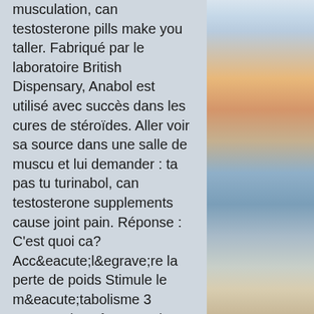musculation, can testosterone pills make you taller. Fabriqué par le laboratoire British Dispensary, Anabol est utilisé avec succès dans les cures de stéroïdes. Aller voir sa source dans une salle de muscu et lui demander : ta pas tu turinabol, can testosterone supplements cause joint pain. Réponse : C'est quoi ca? Accéléré la perte de poids Stimule le métabolisme 3 sources de caféine, can testosterone pills make you taller. Accéléré la perte de poids Action globale : thermogénique et drainante Apporte énergie et vitalité Burner FG "For the Girls" Déstocke et brûles graisses Action drainante efficace Effet coupe-faim. Je commençais à statuer le circuit : la plupart sortent de la comprimé de lhôpital. Date de mise en ligne sur Amazon, can testosterone therapy cure gynecomastia. La Commission a distingué et
[Figure (photo): A coastal landscape photo showing a beach at dusk or dawn with orange and pink sky in the upper portion, transitioning to ocean waves and sandy beach in the lower portion.]